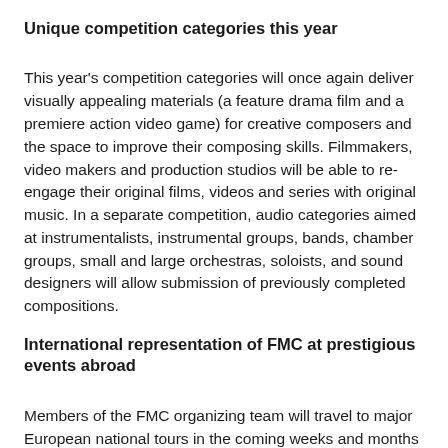Unique competition categories this year
This year's competition categories will once again deliver visually appealing materials (a feature drama film and a premiere action video game) for creative composers and the space to improve their composing skills. Filmmakers, video makers and production studios will be able to re-engage their original films, videos and series with original music. In a separate competition, audio categories aimed at instrumentalists, instrumental groups, bands, chamber groups, small and large orchestras, soloists, and sound designers will allow submission of previously completed compositions.
International representation of FMC at prestigious events abroad
Members of the FMC organizing team will travel to major European national tours in the coming weeks and months and personally attend several of the most important film events, festivals and markets. At these meetings, they will represent FMC in person and negotiate with potential partners about new collaborations and partnerships to keep pushing the event forward to new levels and bring exclusive content to